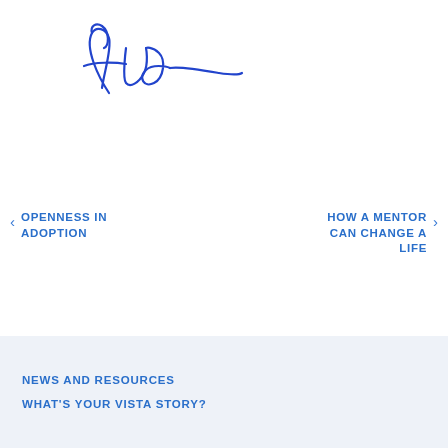[Figure (illustration): A handwritten cursive signature in blue ink, resembling 'Lue' with flourishes, on a white background.]
< OPENNESS IN ADOPTION
HOW A MENTOR CAN CHANGE A LIFE >
NEWS AND RESOURCES
WHAT'S YOUR VISTA STORY?